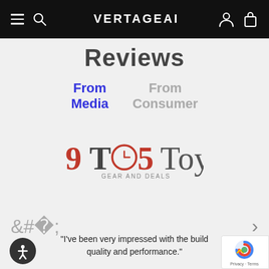VERTAGEAR
Reviews
From Media
From Consumer
[Figure (logo): 9TO5Toys Gear and Deals logo — stylized text with clock icon replacing the O in TO5]
"I've been very impressed with the build quality and performance."